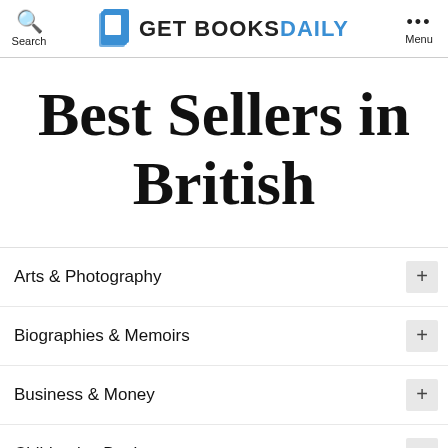Get Books Daily — Search | Menu
Best Sellers in British
Arts & Photography
Biographies & Memoirs
Business & Money
Children's eBooks